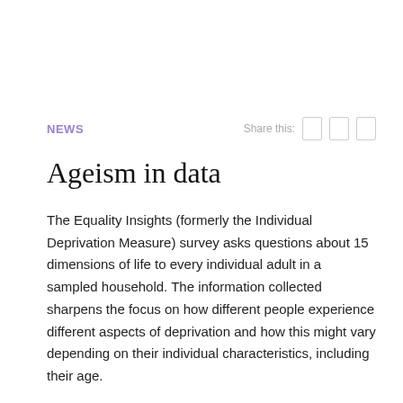NEWS
Ageism in data
The Equality Insights (formerly the Individual Deprivation Measure) survey asks questions about 15 dimensions of life to every individual adult in a sampled household. The information collected sharpens the focus on how different people experience different aspects of deprivation and how this might vary depending on their individual characteristics, including their age.